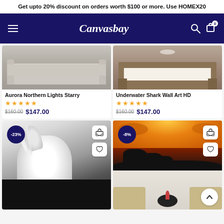Get upto 20% discount on orders worth $100 or more. Use HOMEX20
Canvasbay
[Figure (photo): Product listing card: sofa/couch in a room - Aurora Northern Lights Starry, 5 stars, $160.00 sale $147.00]
[Figure (photo): Product listing card: bedroom furniture - Underwater Shark Wall Art HD, 5 stars, $160.00 sale $147.00]
[Figure (photo): Product listing card: Black and white horse portrait canvas art, -23% badge]
[Figure (photo): Product listing card: Elephant silhouette canvas art set with orange sunset background displayed in living room, -8% badge]